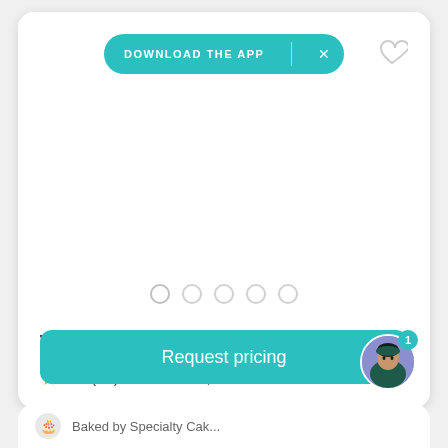[Figure (screenshot): Download the App banner button with teal background and white X close button]
[Figure (illustration): Heart/favorite icon in light gray outline]
[Figure (illustration): Slideshow dots indicator with 5 empty circle dots]
The Petite Desserts
4.9 (10) · Kennesaw, GA
[Figure (illustration): Request pricing teal button]
[Figure (illustration): Avatar circle with notification badge showing 1]
Baked by Specialty Cakes